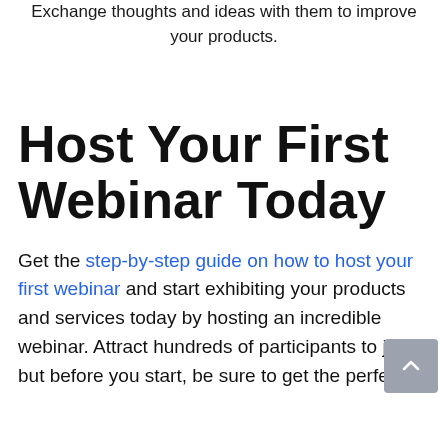Exchange thoughts and ideas with them to improve your products.
Host Your First Webinar Today
Get the step-by-step guide on how to host your first webinar and start exhibiting your products and services today by hosting an incredible webinar. Attract hundreds of participants to join, but before you start, be sure to get the perfect